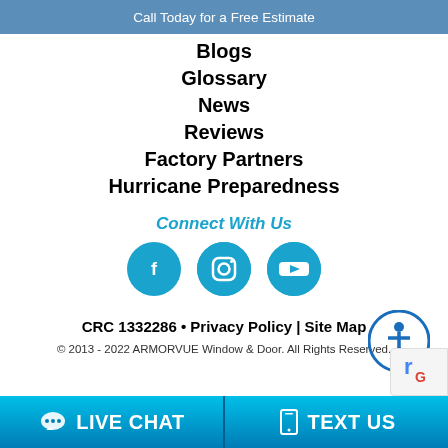Call Today for a Free Estimate
Blogs
Glossary
News
Reviews
Factory Partners
Hurricane Preparedness
Connect With Us
[Figure (illustration): Social media icons: Facebook, Instagram, YouTube (blue circles with white icons)]
[Figure (illustration): Blue circle accessibility icon with person figure]
CRC 1332286 • Privacy Policy | Site Map
© 2013 - 2022 ARMORVUE Window & Door. All Rights Reserved.
LIVE CHAT   TEXT US